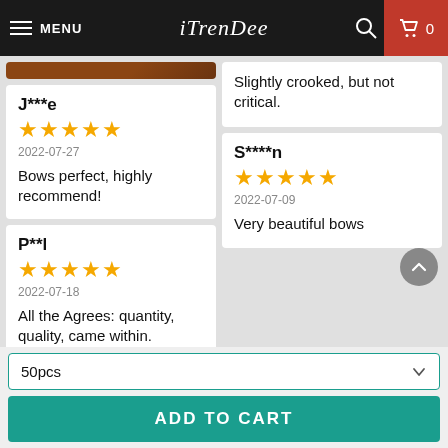MENU | iTrenDee | 🔍 | 🛒 0
[Figure (photo): Brown wooden product thumbnail image]
J***e
★★★★★
2022-07-27
Bows perfect, highly recommend!
Slightly crooked, but not critical.
P**l
★★★★★
2022-07-18
All the Agrees: quantity, quality, came within.
S****n
★★★★★
2022-07-09
Very beautiful bows
50pcs
ADD TO CART